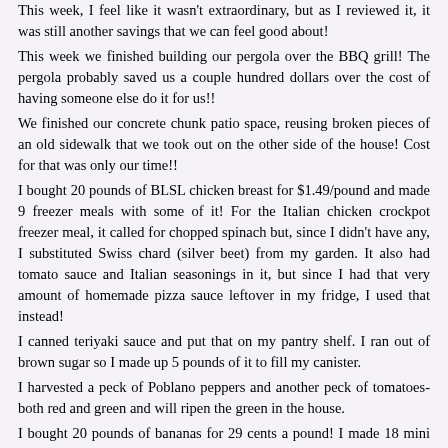This week, I feel like it wasn't extraordinary, but as I reviewed it, it was still another savings that we can feel good about!
This week we finished building our pergola over the BBQ grill! The pergola probably saved us a couple hundred dollars over the cost of having someone else do it for us!!
We finished our concrete chunk patio space, reusing broken pieces of an old sidewalk that we took out on the other side of the house! Cost for that was only our time!!
I bought 20 pounds of BLSL chicken breast for $1.49/pound and made 9 freezer meals with some of it! For the Italian chicken crockpot freezer meal, it called for chopped spinach but, since I didn't have any, I substituted Swiss chard (silver beet) from my garden. It also had tomato sauce and Italian seasonings in it, but since I had that very amount of homemade pizza sauce leftover in my fridge, I used that instead!
I canned teriyaki sauce and put that on my pantry shelf. I ran out of brown sugar so I made up 5 pounds of it to fill my canister.
I harvested a peck of Poblano peppers and another peck of tomatoes- both red and green and will ripen the green in the house.
I bought 20 pounds of bananas for 29 cents a pound! I made 18 mini loaves + 1 regular size loaf of banana walnut bread for gift giving! I'll freeze some of the bananas for later use.